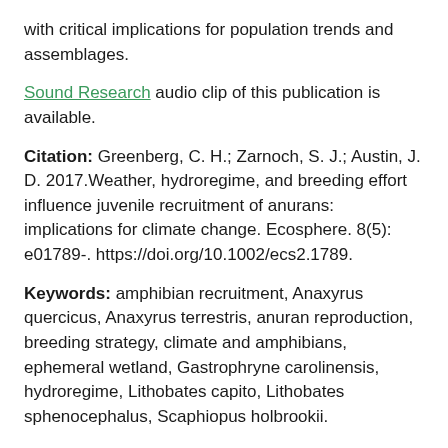with critical implications for population trends and assemblages.
Sound Research audio clip of this publication is available.
Citation: Greenberg, C. H.; Zarnoch, S. J.; Austin, J. D. 2017.Weather, hydroregime, and breeding effort influence juvenile recruitment of anurans: implications for climate change. Ecosphere. 8(5): e01789-. https://doi.org/10.1002/ecs2.1789.
Keywords: amphibian recruitment, Anaxyrus quercicus, Anaxyrus terrestris, anuran reproduction, breeding strategy, climate and amphibians, ephemeral wetland, Gastrophryne carolinensis, hydroregime, Lithobates capito, Lithobates sphenocephalus, Scaphiopus holbrookii.
Posted Date: May 22, 2017